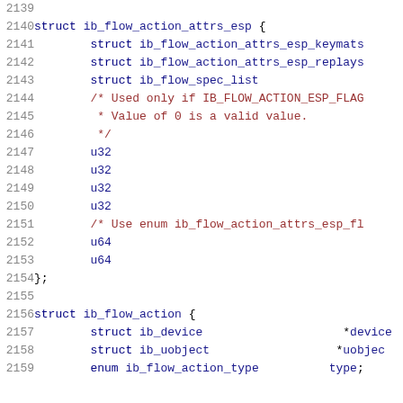Code listing lines 2139-2159 showing C struct definitions for ib_flow_action_attrs_esp and ib_flow_action